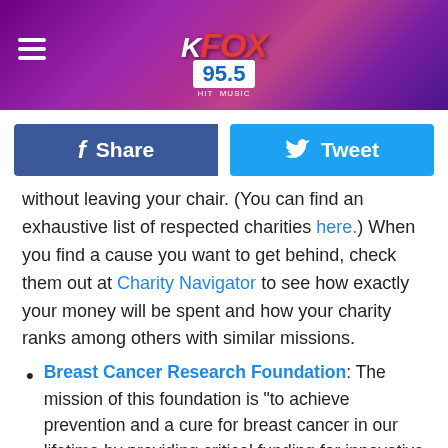[Figure (screenshot): KFOX 95.5 radio station header banner with purple/pink geometric background, hamburger menu icon on left, KFOX 95.5 logo in center]
Share    Tweet
without leaving your chair. (You can find an exhaustive list of respected charities here.) When you find a cause you want to get behind, check them out at Charity Navigator to see how exactly your money will be spent and how your charity ranks among others with similar missions.
Breast Cancer Research Foundation: The mission of this foundation is “to achieve prevention and a cure for breast cancer in our lifetime by providing critical funding for innovative clinical and translational research at leading medical centers worldwide, and increasing public awareness about good breast health.” Founded by Evelyn Lauder (of Estée Lauder fame), they assure donors that 91 cents of every dollar spent by